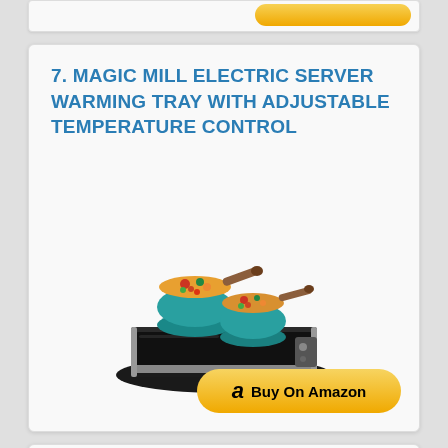[Figure (other): Partial top card with yellow Buy On Amazon button visible at top of page]
7. MAGIC MILL ELECTRIC SERVER WARMING TRAY WITH ADJUSTABLE TEMPERATURE CONTROL
[Figure (photo): Electric warming tray (black, flat, rectangular) with two teal/blue round cooking pots with wooden handles containing colorful food, viewed from above at an angle]
[Figure (other): Buy On Amazon button with Amazon logo 'a' icon and yellow pill-shaped background]
8. CHEFMAN COMPACT GLASSTOP WARMING TRAY WITH ADJUSTABLE